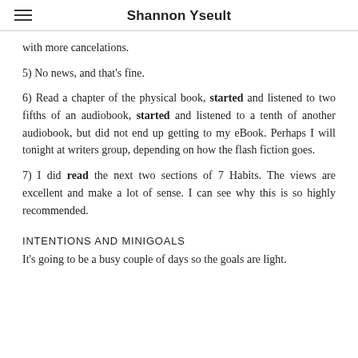Shannon Yseult
with more cancelations.
5) No news, and that's fine.
6) Read a chapter of the physical book, started and listened to two fifths of an audiobook, started and listened to a tenth of another audiobook, but did not end up getting to my eBook. Perhaps I will tonight at writers group, depending on how the flash fiction goes.
7) I did read the next two sections of 7 Habits. The views are excellent and make a lot of sense. I can see why this is so highly recommended.
INTENTIONS AND MINIGOALS
It's going to be a busy couple of days so the goals are light.